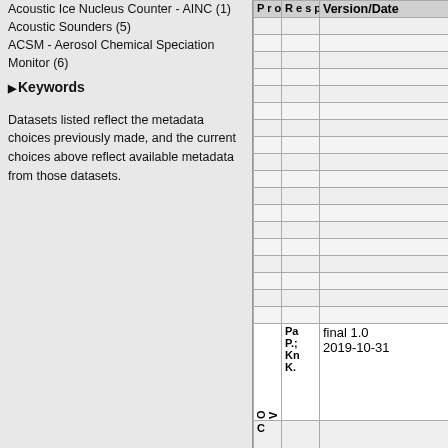Acoustic Ice Nucleus Counter - AINC (1)
Acoustic Sounders (5)
ACSM - Aerosol Chemical Speciation Monitor (6)
Keywords
Datasets listed reflect the metadata choices previously made, and the current choices above reflect available metadata from those datasets.
| Projects | Responsible parties | Version/Date |
| --- | --- | --- |
|  |  |  |
|  |  |  |
|  |  |  |
|  |  |  |
|  |  |  |
|  |  |  |
|  |  |  |
|  |  |  |
|  |  |  |
|  |  |  |
| VORTEX-SE OQC... | Pa P.; Kn K. | final 1.0
2019-10-31 |